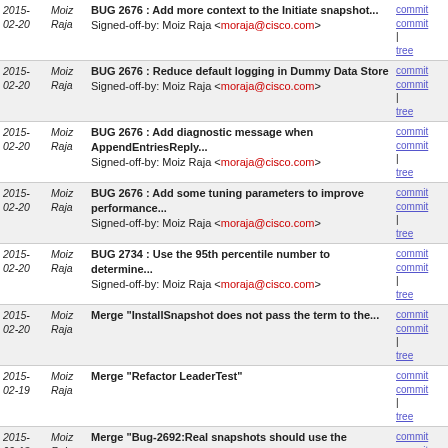| Date | Author | Message | Links |
| --- | --- | --- | --- |
| 2015-02-20 | Moiz Raja | BUG 2676 : Add more context to the Initiate snapshot...
Signed-off-by: Moiz Raja <moraja@cisco.com> | commit | commitdiff | tree |
| 2015-02-20 | Moiz Raja | BUG 2676 : Reduce default logging in Dummy Data Store
Signed-off-by: Moiz Raja <moraja@cisco.com> | commit | commitdiff | tree |
| 2015-02-20 | Moiz Raja | BUG 2676 : Add diagnostic message when AppendEntriesReply...
Signed-off-by: Moiz Raja <moraja@cisco.com> | commit | commitdiff | tree |
| 2015-02-20 | Moiz Raja | BUG 2676 : Add some tuning parameters to improve performance...
Signed-off-by: Moiz Raja <moraja@cisco.com> | commit | commitdiff | tree |
| 2015-02-20 | Moiz Raja | BUG 2734 : Use the 95th percentile number to determine...
Signed-off-by: Moiz Raja <moraja@cisco.com> | commit | commitdiff | tree |
| 2015-02-20 | Moiz Raja | Merge "InstallSnapshot does not pass the term to the... | commit | commitdiff | tree |
| 2015-02-19 | Moiz Raja | Merge "Refactor LeaderTest" | commit | commitdiff | tree |
| 2015-02-18 | Moiz Raja | Merge "Bug-2692:Real snapshots should use the replicatedToAl... | commit | commitdiff | tree |
| 2015-02-18 | Moiz Raja | Minor enhancements to dummy datastore
Signed-off-by: Moiz Raja <moraja@cisco.com> | commit | commitdiff | tree |
| 2015-02-18 | Moiz Raja | Make ReadData exception logging less noisy
Signed-off-by: Moiz Raja <moraja@cisco.com> | commit | commitdiff | tree |
| 2015-02-13 | Moiz Raja | Merge "(Fix: Bug 2711) - Match RPC actor system's Netty... | commit | commitdiff | tree |